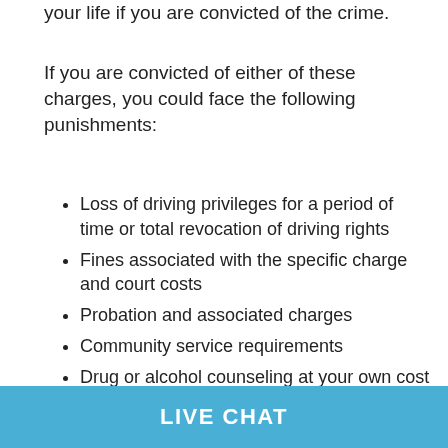your life if you are convicted of the crime.
If you are convicted of either of these charges, you could face the following punishments:
Loss of driving privileges for a period of time or total revocation of driving rights
Fines associated with the specific charge and court costs
Probation and associated charges
Community service requirements
Drug or alcohol counseling at your own cost if applicable
Installation of ignition interlock device on your vehicle and associated costs
Jail sentence
LIVE CHAT